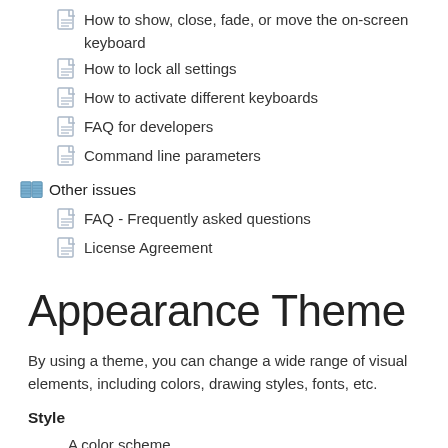How to show, close, fade, or move the on-screen keyboard
How to lock all settings
How to activate different keyboards
FAQ for developers
Command line parameters
Other issues
FAQ - Frequently asked questions
License Agreement
Appearance Theme
By using a theme, you can change a wide range of visual elements, including colors, drawing styles, fonts, etc.
Style
A color scheme.
To edit any color scheme, select it and click the Edit… button (a new Custom scheme will be created). To edit a color, click the